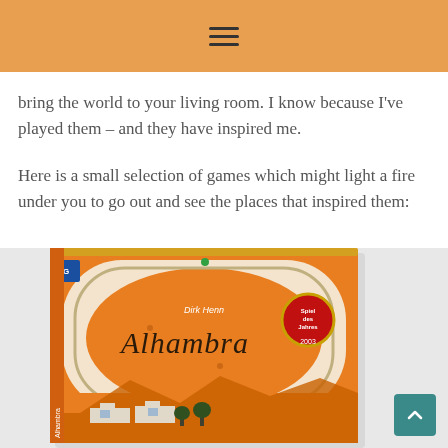≡
bring the world to your living room. I know because I've played them – and they have inspired me.
Here is a small selection of games which might light a fire under you to go out and see the places that inspired them:
[Figure (photo): Box cover of the board game 'Alhambra' by Dirk Henn, showing an orange and white decorated box with the Alhambra palace in the background. The box has a Spiel des Jahres 2003 award badge.]